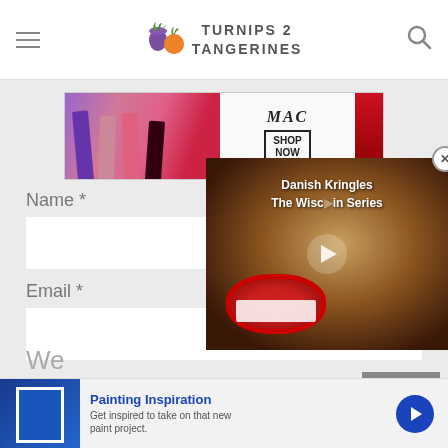Turnips 2 Tangerines
[Figure (screenshot): MAC Cosmetics advertisement showing lipsticks with SHOP NOW button]
Name *
Email *
[Figure (screenshot): Video overlay showing Danish Kringles - The Wisconsin Series with play button]
CLOSE
We
[Figure (screenshot): Painting Inspiration advertisement - Get inspired to take on that new paint project.]